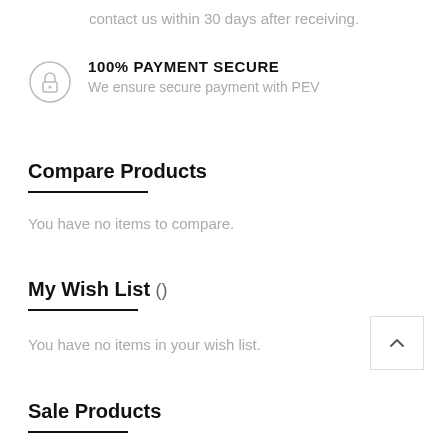contact us within 30 days after receiving.
[Figure (illustration): Lock/keyhole icon inside a circle]
100% PAYMENT SECURE
We ensure secure payment with PEV
Compare Products
You have no items to compare.
My Wish List ()
You have no items in your wish list.
Sale Products